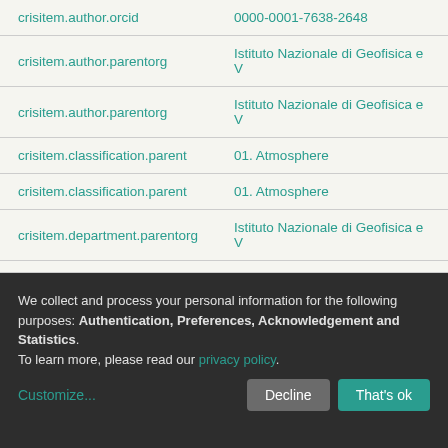| Field | Value |
| --- | --- |
| crisitem.author.orcid | 0000-0001-7638-2648 |
| crisitem.author.parentorg | Istituto Nazionale di Geofisica e V |
| crisitem.author.parentorg | Istituto Nazionale di Geofisica e V |
| crisitem.classification.parent | 01. Atmosphere |
| crisitem.classification.parent | 01. Atmosphere |
| crisitem.department.parentorg | Istituto Nazionale di Geofisica e V |
| Appears in Collections: | Article published / in press |
We collect and process your personal information for the following purposes: Authentication, Preferences, Acknowledgement and Statistics. To learn more, please read our privacy policy.